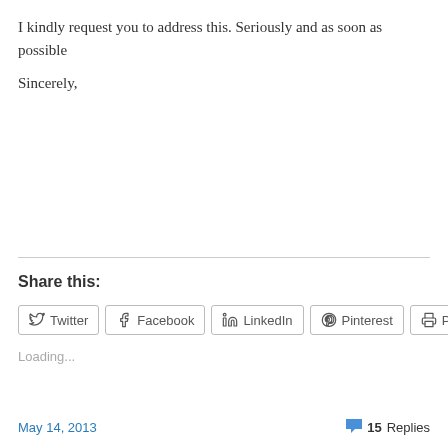I kindly request you to address this. Seriously and as soon as possible
Sincerely,
Share this:
Twitter  Facebook  LinkedIn  Pinterest  Print
Loading...
May 14, 2013    15 Replies